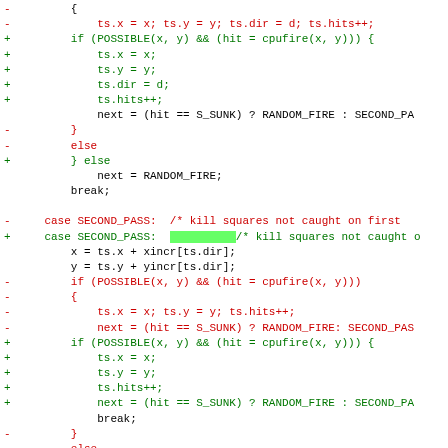[Figure (screenshot): Code diff view showing C code changes with red deleted lines and green added lines. Shows modifications to a switch-case block handling SECOND_PASS with cpufire and RANDOM_FIRE logic.]